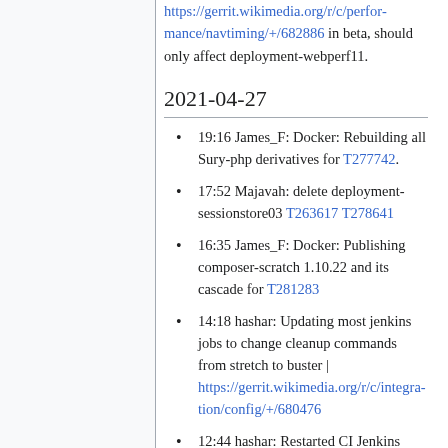https://gerrit.wikimedia.org/r/c/performance/navtiming/+/682886 in beta, should only affect deployment-webperf11.
2021-04-27
19:16 James_F: Docker: Rebuilding all Sury-php derivatives for T277742.
17:52 Majavah: delete deployment-sessionstore03 T263617 T278641
16:35 James_F: Docker: Publishing composer-scratch 1.10.22 and its cascade for T281283
14:18 hashar: Updating most jenkins jobs to change cleanup commands from stretch to buster | https://gerrit.wikimedia.org/r/c/integration/config/+/680476
12:44 hashar: Restarted CI Jenkins